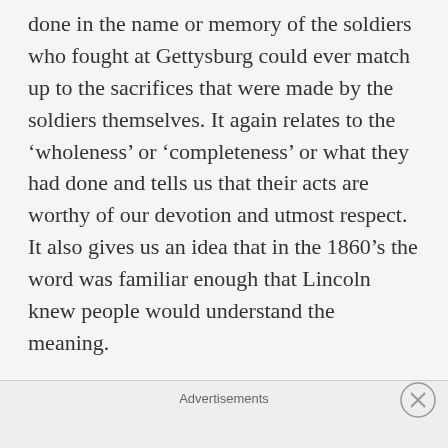done in the name or memory of the soldiers who fought at Gettysburg could ever match up to the sacrifices that were made by the soldiers themselves. It again relates to the 'wholeness' or 'completeness' or what they had done and tells us that their acts are worthy of our devotion and utmost respect. It also gives us an idea that in the 1860's the word was familiar enough that Lincoln knew people would understand the meaning.
OTHER PLACES THE WORD IS USED IN SCRIPTURE
Even though we only see the English word hallowed in the Lord's Prayer, the underlying
Advertisements